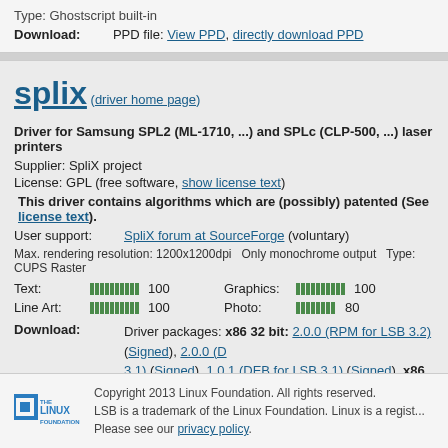Type: Ghostscript built-in
Download: PPD file: View PPD, directly download PPD
splix (driver home page)
Driver for Samsung SPL2 (ML-1710, ...) and SPLc (CLP-500, ...) laser printers
Supplier: SpliX project
License: GPL (free software, show license text)
This driver contains algorithms which are (possibly) patented (See license text).
User support: SpliX forum at SourceForge (voluntary)
Max. rendering resolution: 1200x1200dpi  Only monochrome output  Type: CUPS Raster
Text: 100  Graphics: 100
Line Art: 100  Photo: 80
Download: Driver packages: x86 32 bit: 2.0.0 (RPM for LSB 3.2) (Signed), 2.0.0 (D... 3.1) (Signed), 1.0.1 (DEB for LSB 3.1) (Signed), x86 64 bit: 2.0.0 (RPM... (Signed), 1.0.1 (RPM for LSB 3.1) (Signed), 1.0.1 (DEB for LSB 3.1) (Si...
Copyright 2013 Linux Foundation. All rights reserved. LSB is a trademark of the Linux Foundation. Linux is a regist... Please see our privacy policy.